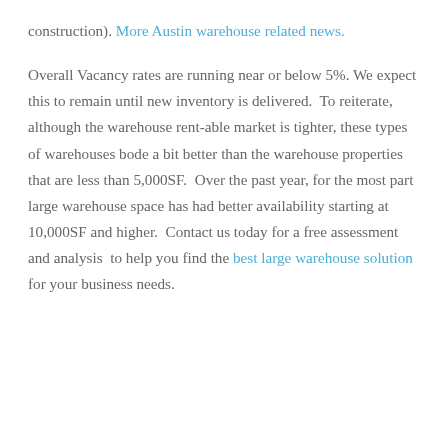construction). More Austin warehouse related news.
Overall Vacancy rates are running near or below 5%. We expect this to remain until new inventory is delivered.  To reiterate, although the warehouse rent-able market is tighter, these types of warehouses bode a bit better than the warehouse properties that are less than 5,000SF.  Over the past year, for the most part large warehouse space has had better availability starting at 10,000SF and higher.  Contact us today for a free assessment and analysis  to help you find the best large warehouse solution for your business needs.